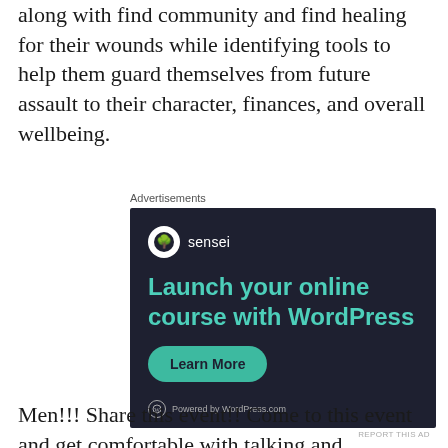along with find community and find healing for their wounds while identifying tools to help them guard themselves from future assault to their character, finances, and overall wellbeing.
Advertisements
[Figure (screenshot): Sensei advertisement: 'Launch your online course with WordPress' with a teal Learn More button and 'Powered by WordPress.com' at the bottom, on a dark navy background.]
REPORT THIS AD
Men!!! Share this event!! Come to this event and get comfortable with talking and processing your